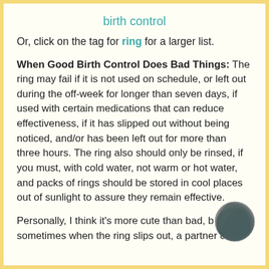birth control
Or, click on the tag for ring for a larger list.
When Good Birth Control Does Bad Things: The ring may fail if it is not used on schedule, or left out during the off-week for longer than seven days, if used with certain medications that can reduce effectiveness, if it has slipped out without being noticed, and/or has been left out for more than three hours. The ring also should only be rinsed, if you must, with cold water, not warm or hot water, and packs of rings should be stored in cool places out of sunlight to assure they remain effective.
Personally, I think it's more cute than bad, but sometimes when the ring slips out, a partner can
[Figure (logo): Circular logo with swirling dark grey and teal pattern]